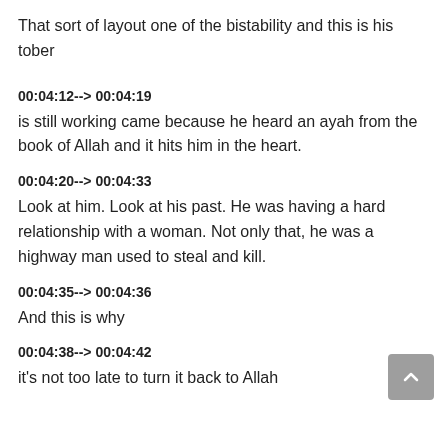That sort of layout one of the bistability and this is his tober
00:04:12--> 00:04:19
is still working came because he heard an ayah from the book of Allah and it hits him in the heart.
00:04:20--> 00:04:33
Look at him. Look at his past. He was having a hard relationship with a woman. Not only that, he was a highway man used to steal and kill.
00:04:35--> 00:04:36
And this is why
00:04:38--> 00:04:42
it's not too late to turn it back to Allah